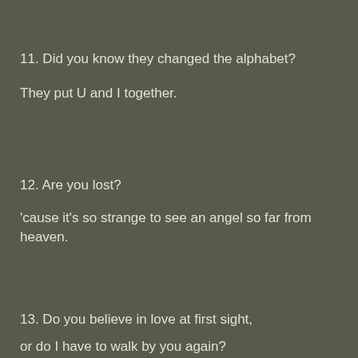11. Did you know they changed the alphabet?
They put U and I together.
12. Are you lost?
'cause it's so strange to see an angel so far from heaven.
13. Do you believe in love at first sight,
or do I have to walk by you again?